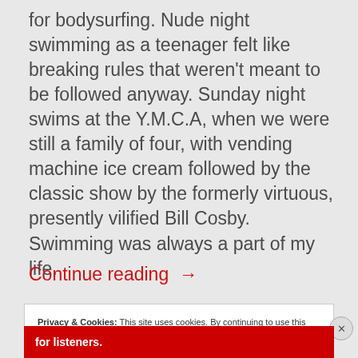for bodysurfing. Nude night swimming as a teenager felt like breaking rules that weren't meant to be followed anyway. Sunday night swims at the Y.M.C.A, when we were still a family of four, with vending machine ice cream followed by the classic show by the formerly virtuous, presently vilified Bill Cosby.
Swimming was always a part of my life.
Continue reading →
Privacy & Cookies: This site uses cookies. By continuing to use this website, you agree to their use.
To find out more, including how to control cookies, see here: Cookie Policy
Close and accept
for listeners.